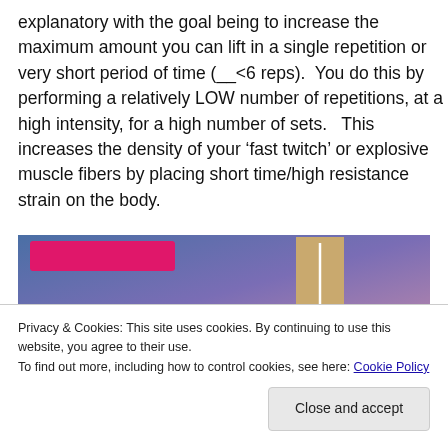explanatory with the goal being to increase the maximum amount you can lift in a single repetition or very short period of time (__<6 reps).  You do this by performing a relatively LOW number of repetitions, at a high intensity, for a high number of sets.   This increases the density of your 'fast twitch' or explosive muscle fibers by placing short time/high resistance strain on the body.
[Figure (infographic): Partially visible infographic with blue-to-purple gradient background, a pink/magenta button or label element in the upper left area, and a tan/beige vertical bar element on the right side.]
Privacy & Cookies: This site uses cookies. By continuing to use this website, you agree to their use.
To find out more, including how to control cookies, see here: Cookie Policy